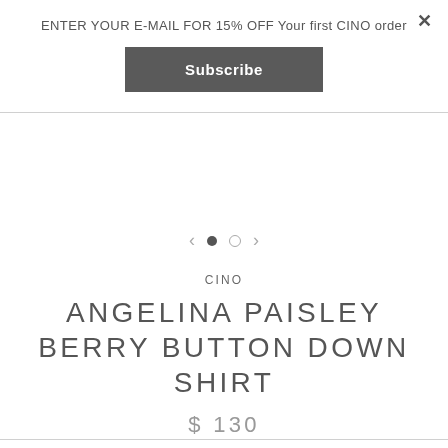ENTER YOUR E-MAIL FOR 15% OFF Your first CINO order
Subscribe
CINO
ANGELINA PAISLEY BERRY BUTTON DOWN SHIRT
$ 130